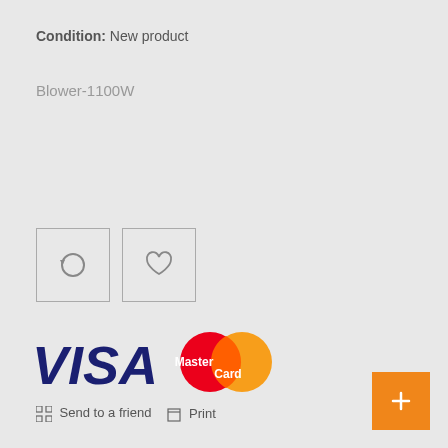Condition: New product
Blower-1100W
[Figure (other): Two square icon buttons: a refresh/compare icon and a heart/wishlist icon]
[Figure (logo): VISA and MasterCard payment logos]
Send to a friend  Print
[Figure (other): Orange square button with a small icon]